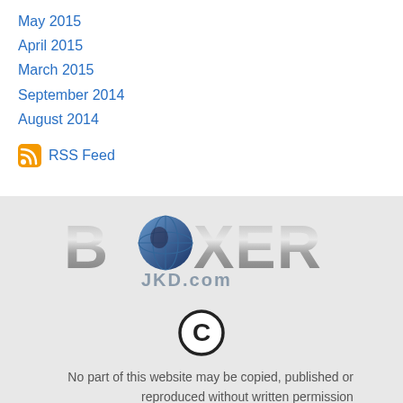May 2015
April 2015
March 2015
September 2014
August 2014
RSS Feed
[Figure (logo): BOXER JKD.com logo with globe icon in the letter O]
[Figure (other): Copyright symbol circle-C]
No part of this website may be copied, published or reproduced without written permission
This website and contents are subject to copyright and remain the property of International JKD